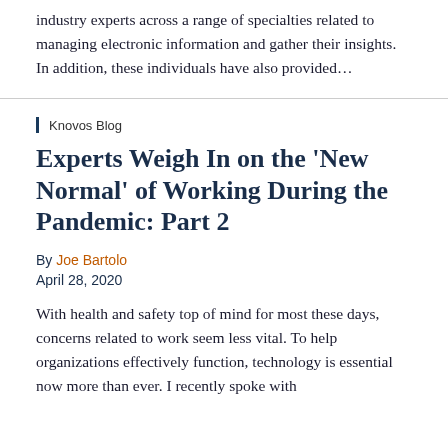industry experts across a range of specialties related to managing electronic information and gather their insights. In addition, these individuals have also provided…
Knovos Blog
Experts Weigh In on the ‘New Normal’ of Working During the Pandemic: Part 2
By Joe Bartolo
April 28, 2020
With health and safety top of mind for most these days, concerns related to work seem less vital. To help organizations effectively function, technology is essential now more than ever. I recently spoke with